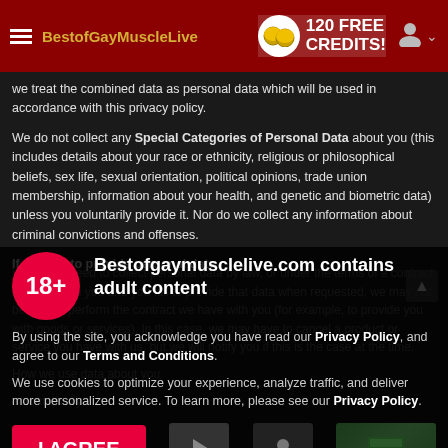BestofGayMuscleLive | 120 FREE CREDITS!
we treat the combined data as personal data which will be used in accordance with this privacy policy.
We do not collect any Special Categories of Personal Data about you (this includes details about your race or ethnicity, religious or philosophical beliefs, sex life, sexual orientation, political opinions, trade union membership, information about your health, and genetic and biometric data) unless you voluntarily provide it. Nor do we collect any information about criminal convictions and offenses.
If you fail to provide personal data
[Figure (infographic): Age gate overlay with 18+ badge and adult content warning modal. Contains title 'Bestofgaymusclelive.com contains adult content', acknowledgement text referencing Privacy Policy and Terms and Conditions, cookie notice, and an I AGREE button.]
Bestofgaymusclelive.com contains adult content
By using the site, you acknowledge you have read our Privacy Policy, and agree to our Terms and Conditions.
We use cookies to optimize your experience, analyze traffic, and deliver more personalized service. To learn more, please see our Privacy Policy.